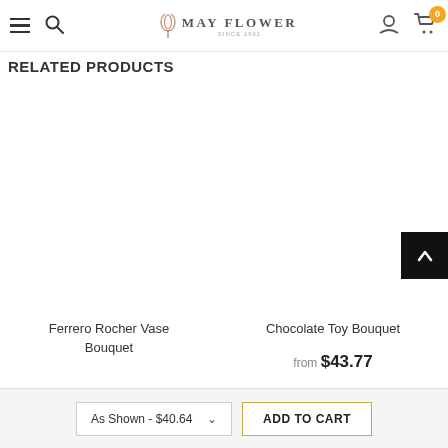May Flower — navigation header with hamburger menu, search icon, logo, user icon, and cart (0)
RELATED PRODUCTS
Ferrero Rocher Vase Bouquet
Chocolate Toy Bouquet
from $43.77
As Shown - $40.64  ADD TO CART